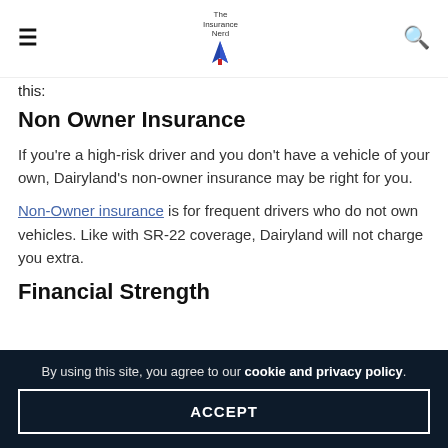The Insurance Nerd [logo]
this:
Non Owner Insurance
If you're a high-risk driver and you don't have a vehicle of your own, Dairyland's non-owner insurance may be right for you.
Non-Owner insurance is for frequent drivers who do not own vehicles. Like with SR-22 coverage, Dairyland will not charge you extra.
Financial Strength
By using this site, you agree to our cookie and privacy policy.
ACCEPT